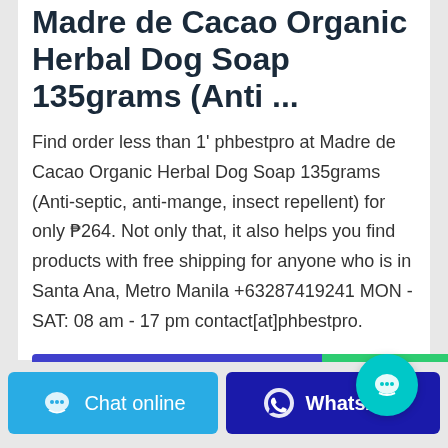Madre de Cacao Organic Herbal Dog Soap 135grams (Anti ...
Find order less than 1' phbestpro at Madre de Cacao Organic Herbal Dog Soap 135grams (Anti-septic, anti-mange, insect repellent) for only ₱264. Not only that, it also helps you find products with free shipping for anyone who is in Santa Ana, Metro Manila +63287419241 MON - SAT: 08 am - 17 pm contact[at]phbestpro.
[Figure (other): Contact The Manufacturer button (blue/purple) and WhatsApp button (green) with teal chat bubble overlay icon]
[Figure (other): Bottom bar with Chat online button (blue) and WhatsApp button (dark blue)]